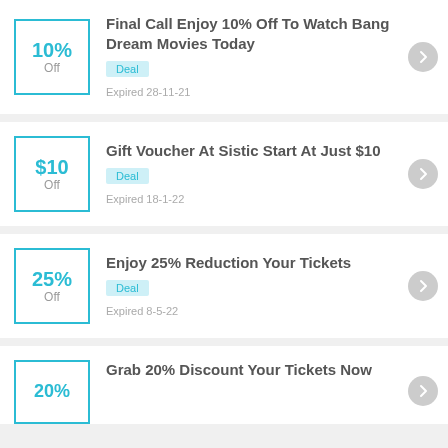Final Call Enjoy 10% Off To Watch Bang Dream Movies Today | Deal | Expired 28-11-21
Gift Voucher At Sistic Start At Just $10 | Deal | Expired 18-1-22
Enjoy 25% Reduction Your Tickets | Deal | Expired 8-5-22
Grab 20% Discount Your Tickets Now